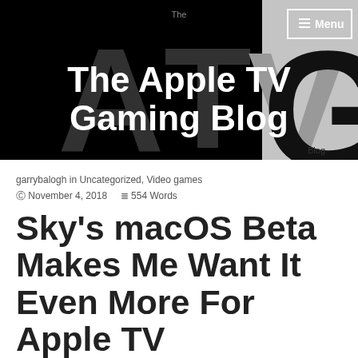[Figure (screenshot): The Apple TV Gaming Blog website header banner with black background, large faded letters A T V G, site title 'The Apple TV Gaming Blog' in white bold text, a Menu button with hamburger icon top-right, a grey panel on the right with 'Blog' label, and small 'The' text at top center.]
garrybalogh in Uncategorized, Video games
© November 4, 2018   ≡ 554 Words
Sky's macOS Beta Makes Me Want It Even More For Apple TV